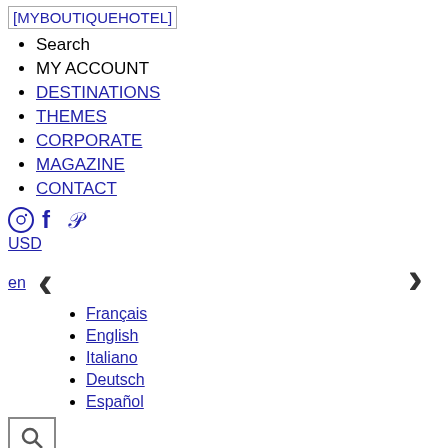[Figure (logo): MYBOUTIQUEHOTEL text logo as image link]
Search
MY ACCOUNT
DESTINATIONS
THEMES
CORPORATE
MAGAZINE
CONTACT
[Figure (illustration): Social media icons: Instagram circle, Facebook f, Pinterest p]
USD
en
[Figure (illustration): Left chevron navigation arrow]
[Figure (illustration): Right chevron navigation arrow]
Français
English
Italiano
Deutsch
Español
[Figure (illustration): Search button with magnifying glass icon]
[Figure (illustration): Close button with X mark]